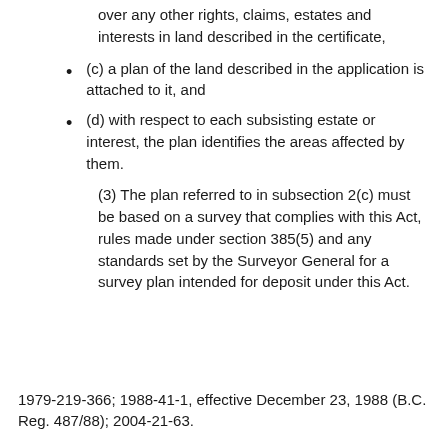over any other rights, claims, estates and interests in land described in the certificate,
(c) a plan of the land described in the application is attached to it, and
(d) with respect to each subsisting estate or interest, the plan identifies the areas affected by them.
(3) The plan referred to in subsection 2(c) must be based on a survey that complies with this Act, rules made under section 385(5) and any standards set by the Surveyor General for a survey plan intended for deposit under this Act.
1979-219-366; 1988-41-1, effective December 23, 1988 (B.C. Reg. 487/88); 2004-21-63.